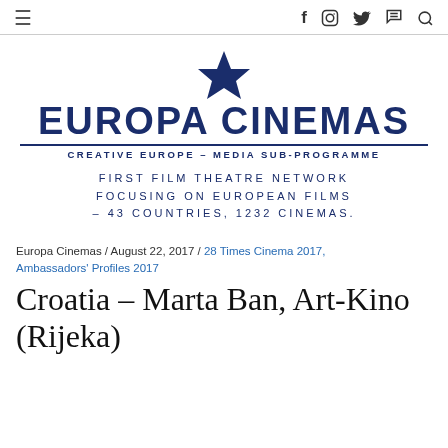≡  f  [instagram]  [twitter]  [vimeo]  [search]
[Figure (logo): Europa Cinemas logo with dark blue star above text 'EUROPA CINEMAS' and subtitle 'CREATIVE EUROPE – MEDIA SUB-PROGRAMME']
FIRST FILM THEATRE NETWORK FOCUSING ON EUROPEAN FILMS – 43 COUNTRIES, 1232 CINEMAS.
Europa Cinemas / August 22, 2017 / 28 Times Cinema 2017, Ambassadors' Profiles 2017
Croatia – Marta Ban, Art-Kino (Rijeka)